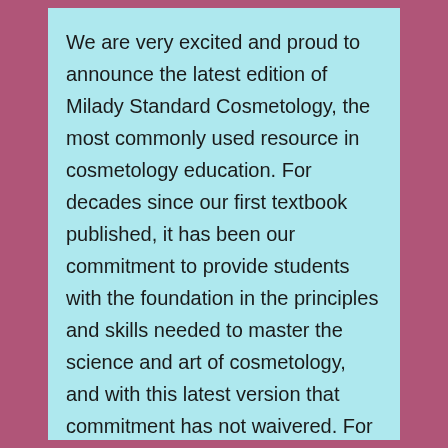We are very excited and proud to announce the latest edition of Milady Standard Cosmetology, the most commonly used resource in cosmetology education. For decades since our first textbook published, it has been our commitment to provide students with the foundation in the principles and skills needed to master the science and art of cosmetology, and with this latest version that commitment has not waivered. For the new edition, celebrity stylist Ted Gibson served as Creative Director on the project. The result is a brilliant new design with over 750 new photos and a gorgeous layout, providing a visually stunning resource